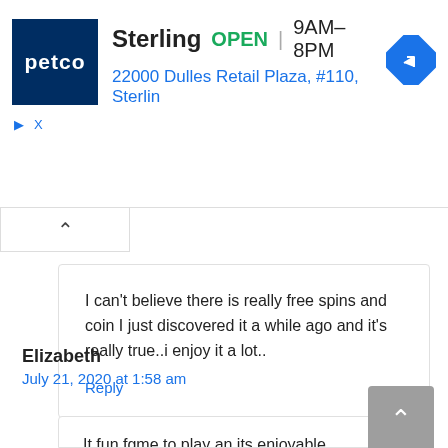[Figure (screenshot): Petco advertisement banner showing store name 'Sterling', status 'OPEN', hours '9AM-8PM', address '22000 Dulles Retail Plaza, #110, Sterlin', Petco logo, and navigation icon]
I can't believe there is really free spins and coin I just discovered it a while ago and it's really true..i enjoy it a lot..
Reply
Elizabeth
July 21, 2020 at 1:58 am
It fun fgme to play an its enjoyable